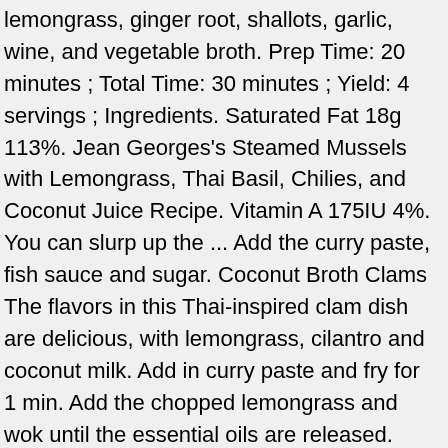lemongrass, ginger root, shallots, garlic, wine, and vegetable broth. Prep Time: 20 minutes ; Total Time: 30 minutes ; Yield: 4 servings ; Ingredients. Saturated Fat 18g 113%. Jean Georges's Steamed Mussels with Lemongrass, Thai Basil, Chilies, and Coconut Juice Recipe. Vitamin A 175IU 4%. You can slurp up the ... Add the curry paste, fish sauce and sugar. Coconut Broth Clams The flavors in this Thai-inspired clam dish are delicious, with lemongrass, cilantro and coconut milk. Add in curry paste and fry for 1 min. Add the chopped lemongrass and wok until the essential oils are released. When using fresh lemongrass, you would only want the lower bulbous part of the stem which can be pounded or sliced to release the flavours. Remove from heat, and use a slotted spoon to transfer the mussels to a large bowl, leaving the liquid in the pot. Now add the razor clams and deglaze after 30 seconds with the nam pla. If you're looking for a Thai-inspired side dish to pair with these, try making Cilantro-Lime Cauliflower Rice. Sugar 4g 4%. Instructions. The clams give up all their essence in this rich